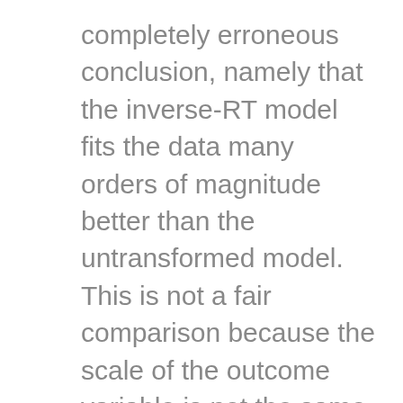completely erroneous conclusion, namely that the inverse-RT model fits the data many orders of magnitude better than the untransformed model. This is not a fair comparison because the scale of the outcome variable is not the same in the two models and, thus, the likelihood is not the same! I have reviewed a number of papers over the years where authors conclude that a model with a